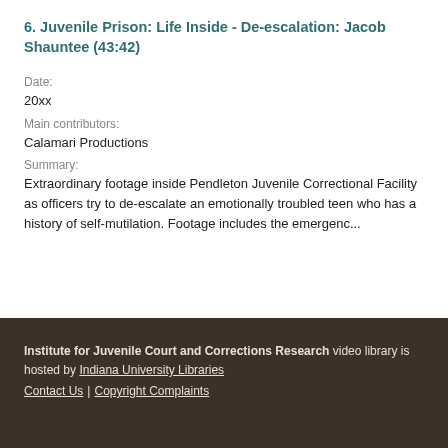6. Juvenile Prison: Life Inside - De-escalation: Jacob Shauntee (43:42)
Date:
20xx
Main contributors:
Calamari Productions
Summary:
Extraordinary footage inside Pendleton Juvenile Correctional Facility as officers try to de-escalate an emotionally troubled teen who has a history of self-mutilation. Footage includes the emergenc...
Institute for Juvenile Court and Corrections Research video library is hosted by Indiana University Libraries
Contact Us | Copyright Complaints